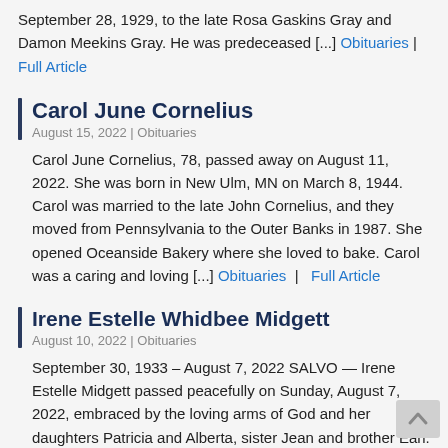September 28, 1929, to the late Rosa Gaskins Gray and Damon Meekins Gray. He was predeceased [...] Obituaries | Full Article
Carol June Cornelius
August 15, 2022 | Obituaries
Carol June Cornelius, 78, passed away on August 11, 2022. She was born in New Ulm, MN on March 8, 1944. Carol was married to the late John Cornelius, and they moved from Pennsylvania to the Outer Banks in 1987. She opened Oceanside Bakery where she loved to bake. Carol was a caring and loving [...] Obituaries | Full Article
Irene Estelle Whidbee Midgett
August 10, 2022 | Obituaries
September 30, 1933 – August 7, 2022 SALVO — Irene Estelle Midgett passed peacefully on Sunday, August 7, 2022, embraced by the loving arms of God and her daughters Patricia and Alberta, sister Jean and brother Earl.